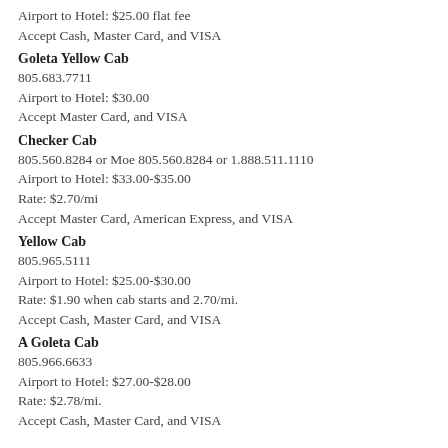Airport to Hotel: $25.00 flat fee
Accept Cash, Master Card, and VISA
Goleta Yellow Cab
805.683.7711
Airport to Hotel: $30.00
Accept Master Card, and VISA
Checker Cab
805.560.8284 or Moe 805.560.8284 or 1.888.511.1110
Airport to Hotel: $33.00-$35.00
Rate: $2.70/mi
Accept Master Card, American Express, and VISA
Yellow Cab
805.965.5111
Airport to Hotel: $25.00-$30.00
Rate: $1.90 when cab starts and 2.70/mi.
Accept Cash, Master Card, and VISA
A Goleta Cab
805.966.6633
Airport to Hotel: $27.00-$28.00
Rate: $2.78/mi.
Accept Cash, Master Card, and VISA